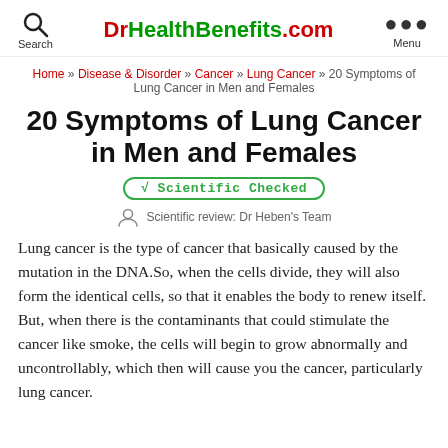DrHealthBenefits.com | Search | Menu
Home » Disease & Disorder » Cancer » Lung Cancer » 20 Symptoms of Lung Cancer in Men and Females
20 Symptoms of Lung Cancer in Men and Females
√ Scientific Checked
Scientific review: Dr Heben's Team
Lung cancer is the type of cancer that basically caused by the mutation in the DNA.So, when the cells divide, they will also form the identical cells, so that it enables the body to renew itself. But, when there is the contaminants that could stimulate the cancer like smoke, the cells will begin to grow abnormally and uncontrollably, which then will cause you the cancer, particularly lung cancer.